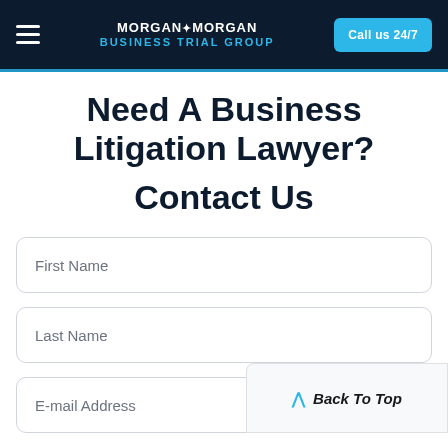MORGAN&MORGAN Business Trial Group | Call us 24/7
Need A Business Litigation Lawyer? Contact Us
First Name
Last Name
E-mail Address
Back To Top